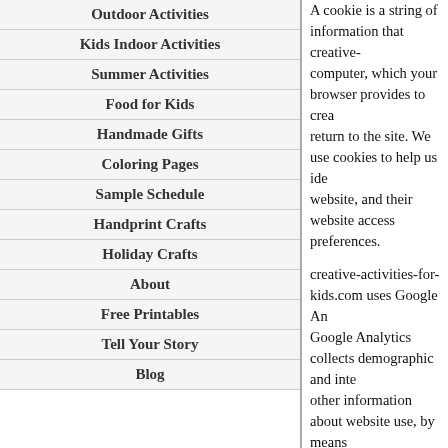Outdoor Activities
Kids Indoor Activities
Summer Activities
Food for Kids
Handmade Gifts
Coloring Pages
Sample Schedule
Handprint Crafts
Holiday Crafts
About
Free Printables
Tell Your Story
Blog
A cookie is a string of information that creative- computer, which your browser provides to crea return to the site. We use cookies to help us ide website, and their website access preferences.
creative-activities-for-kids.com uses Google An Google Analytics collects demographic and inte other information about website use, by means your computer. We share this information with G information on its servers. Google's privacy poli https://policies.google.com/privacy.
creative-activities-for-kids.com uses informatio number of visits to the website, browsers and o identifiable information is obtained from these c Google Analytics generates relating to our webs site. These reports allow us to update the site a
If you do not wish your data to be collected via browser extension or add-on... https://tools.goo
We use third-party advertising companies to se use cookies and web beacons in their ads to as advertisement. We share this information with t with any personally identifiable information for c personally identify you with that information fron
You may opt out of personalized ads for over 1